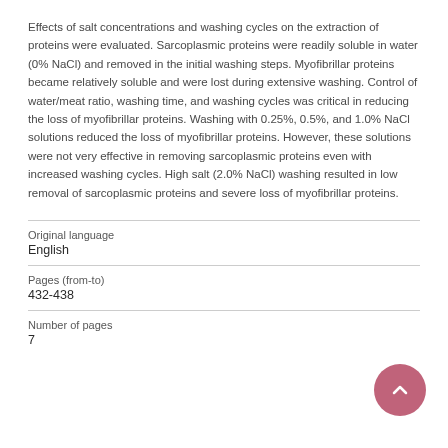Effects of salt concentrations and washing cycles on the extraction of proteins were evaluated. Sarcoplasmic proteins were readily soluble in water (0% NaCl) and removed in the initial washing steps. Myofibrillar proteins became relatively soluble and were lost during extensive washing. Control of water/meat ratio, washing time, and washing cycles was critical in reducing the loss of myofibrillar proteins. Washing with 0.25%, 0.5%, and 1.0% NaCl solutions reduced the loss of myofibrillar proteins. However, these solutions were not very effective in removing sarcoplasmic proteins even with increased washing cycles. High salt (2.0% NaCl) washing resulted in low removal of sarcoplasmic proteins and severe loss of myofibrillar proteins.
| Field | Value |
| --- | --- |
| Original language | English |
| Pages (from-to) | 432-438 |
| Number of pages | 7 |